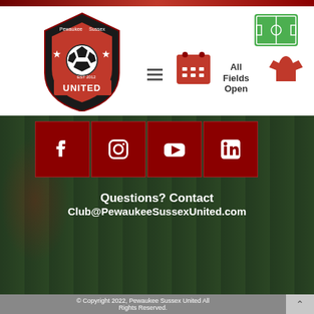[Figure (logo): Pewaukee Sussex United soccer club logo with shield, soccer ball, and UNITED banner]
[Figure (illustration): Navigation icons: hamburger menu, calendar, All Fields Open label, shirt icon, and green soccer field icon in top right]
[Figure (infographic): Social media icons row: Facebook, Instagram, YouTube, LinkedIn in red squares over soccer field background]
Questions? Contact Club@PewaukeeSussexUnited.com
© Copyright 2022, Pewaukee Sussex United All Rights Reserved.